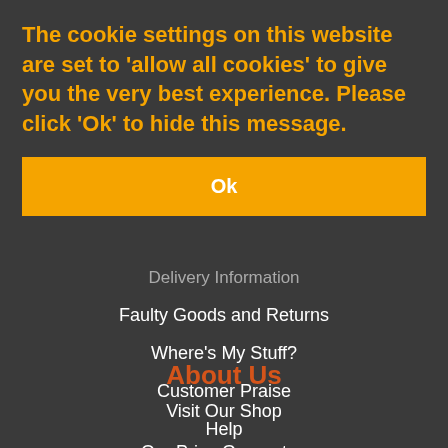The cookie settings on this website are set to 'allow all cookies' to give you the very best experience. Please click 'Ok' to hide this message.
Ok
Delivery Information
Faulty Goods and Returns
Where's My Stuff?
Customer Praise
Help
Frequently Asked Questions
About Us
Visit Our Shop
Our Price Guarantee
The Blog